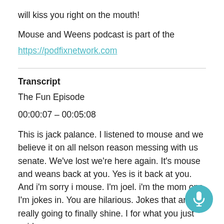will kiss you right on the mouth!
Mouse and Weens podcast is part of the https://podfixnetwork.com
Transcript
The Fun Episode
00:00:07 - 00:05:08
This is jack palance. I listened to mouse and we believe it on all nelson reason messing with us senate. We've lost we're here again. It's mouse and weans back at you. Yes is it back at you. And i'm sorry i mouse. I'm joel. i'm the mom one. I'm jokes in. You are hilarious. Jokes that are really going to finally shine. I for what you just said